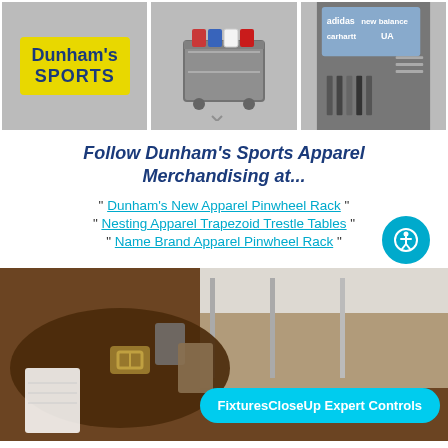[Figure (photo): Three side-by-side store photos: Dunham's Sports yellow sign, shopping cart with sports gear, brand signage (adidas, New Balance, Under Armour, Carhartt)]
Follow Dunham's Sports Apparel Merchandising at...
" Dunham's New Apparel Pinwheel Rack "
" Nesting Apparel Trapezoid Trestle Tables "
" Name Brand Apparel Pinwheel Rack "
[Figure (photo): Close-up photo of belts/leather goods hanging on a rack in a retail store, with a cyan overlay button reading 'FixturesCloseUp Expert Controls']